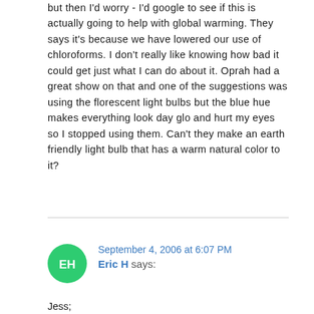but then I'd worry - I'd google to see if this is actually going to help with global warming. They says it's because we have lowered our use of chloroforms. I don't really like knowing how bad it could get just what I can do about it. Oprah had a great show on that and one of the suggestions was using the florescent light bulbs but the blue hue makes everything look day glo and hurt my eyes so I stopped using them. Can't they make an earth friendly light bulb that has a warm natural color to it?
Reply
September 4, 2006 at 6:07 PM
Eric H says:
Jess;
Can't they make an earth friendly light bulb that has a warm natural color to it?
Yes, I think so. The warm white color (2700 K) is supposed to